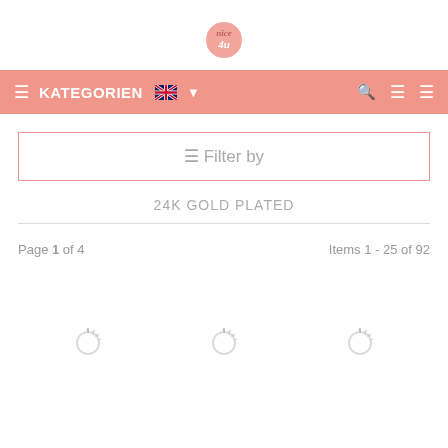nice4u logo
KATEGORIEN
☰ Filter by
24K GOLD PLATED
Page 1 of 4
Items 1 - 25 of 92
[Figure (other): Three loading spinner icons representing product images loading]